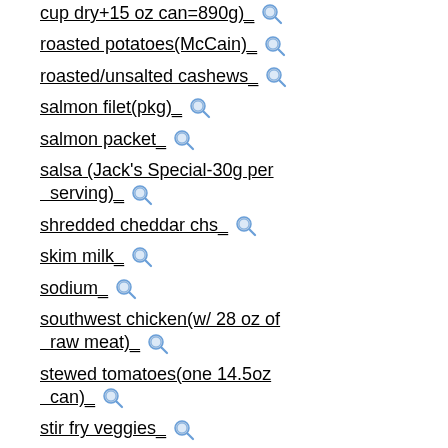cup dry+15 oz can=890g)_
roasted potatoes(McCain)_
roasted/unsalted cashews_
salmon filet(pkg)_
salmon packet_
salsa (Jack's Special-30g per serving)_
shredded cheddar chs_
skim milk_
sodium_
southwest chicken(w/ 28 oz of raw meat)_
stewed tomatoes(one 14.5oz can)_
stir fry veggies_
sweet potato puffs (Alexia)_
swst chk brst_
taco sauce_
tex mex meat loaf (w/ 1lb 90% lean)_